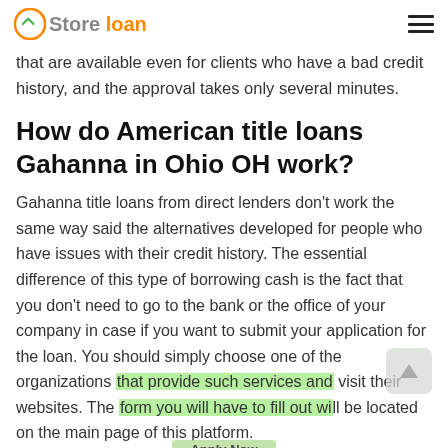Store loan
that are available even for clients who have a bad credit history, and the approval takes only several minutes.
How do American title loans Gahanna in Ohio OH work?
Gahanna title loans from direct lenders don't work the same way said the alternatives developed for people who have issues with their credit history. The essential difference of this type of borrowing cash is the fact that you don't need to go to the bank or the office of your company in case if you want to submit your application for the loan. You should simply choose one of the organizations that provide such services and visit their websites. The form you will have to fill out will be located on the main page of this platform.
Furthermore, these online loans differ from those options
Applying does not affect your credit score! No credit check to apply.